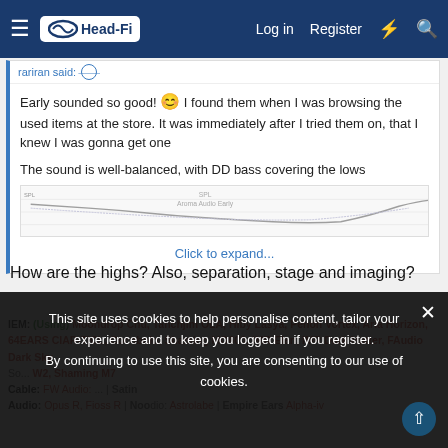Head-Fi — Log in | Register
rariran said:
Early sounded so good! 🎧 I found them when I was browsing the used items at the store. It was immediately after I tried them on, that I knew I was gonna get one

The sound is well-balanced, with DD bass covering the lows
[Figure (continuous-plot): SPL frequency response chart for Aroma Audio Early, showing a curved line plot with SPL on y-axis.]
Click to expand...
How are the highs? Also, separation, stage and imaging?
IEM: (Using) Moondrop Chu, Tanchjim OLA, Hiby Lasya, Penon Vortex, Aria Horizon, 64EARS CIAR-T|CL, Cocobolo, Shaming MG600, IMR Elan, IMR Dark Matter, FAudio Dark Sky So... W2, Shaming M7
Cable: FW Audio: ... | Satin Audio: Empire Ears Alpha-iv
This site uses cookies to help personalise content, tailor your experience and to keep you logged in if you register. By continuing to use this site, you are consenting to our use of cookies.